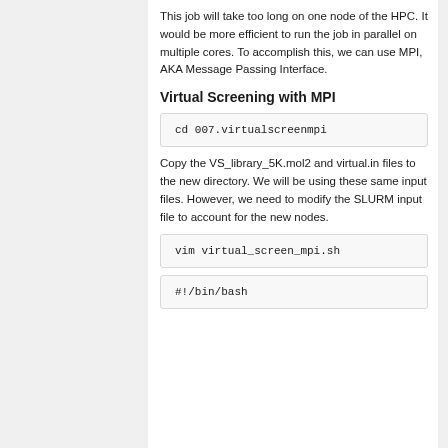This job will take too long on one node of the HPC. It would be more efficient to run the job in parallel on multiple cores. To accomplish this, we can use MPI, AKA Message Passing Interface.
Virtual Screening with MPI
cd 007.virtualscreenmpi
Copy the VS_library_5K.mol2 and virtual.in files to the new directory. We will be using these same input files. However, we need to modify the SLURM input file to account for the new nodes.
vim virtual_screen_mpi.sh
#!/bin/bash